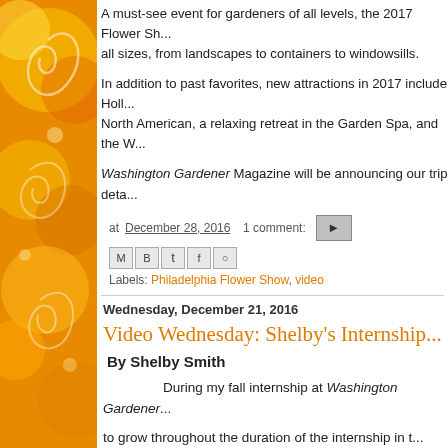[Figure (illustration): Orange and yellow decorative swirl/floral illustration forming the left sidebar background]
A must-see event for gardeners of all levels, the 2017 Flower Sh... all sizes, from landscapes to containers to windowsills.
In addition to past favorites, new attractions in 2017 include Holl... North American, a relaxing retreat in the Garden Spa, and the W...
Washington Gardener Magazine will be announcing our trip deta...
at December 28, 2016  1 comment:
Labels: Philadelphia Flower Show, video
Wednesday, December 21, 2016
Video Wednesday: Shelby's Internship...
By Shelby Smith
During my fall internship at Washington Gardener...
to grow throughout the duration of the internship in t...
Spring, MD. I chose to grow Kale, Organic Gourmet...